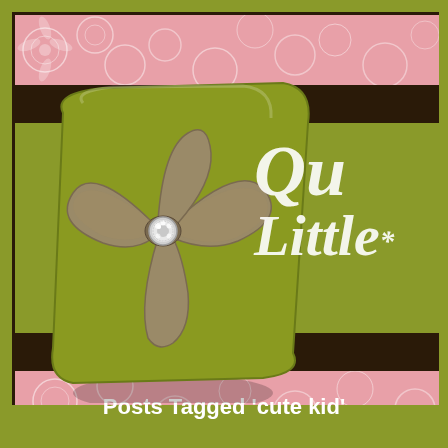[Figure (illustration): Blog header banner showing an olive-green pillow with a large tan/khaki fabric bow decorated with a silver rhinestone button in the center. Background has pink floral strips at top and bottom, dark brown horizontal bars, and olive green main area. On the right side, white cursive script text reads 'Qu... Little...' (partially visible). The whole banner is framed with a dark brown border on the left and top.]
Posts Tagged 'cute kid'